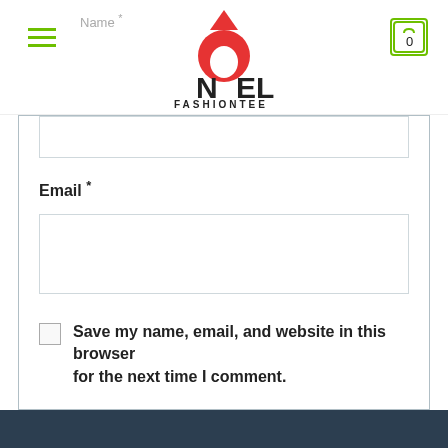Noel Fashiontee website header with hamburger menu, logo, and cart icon showing 0
Name *
Email *
Save my name, email, and website in this browser for the next time I comment.
SUBMIT